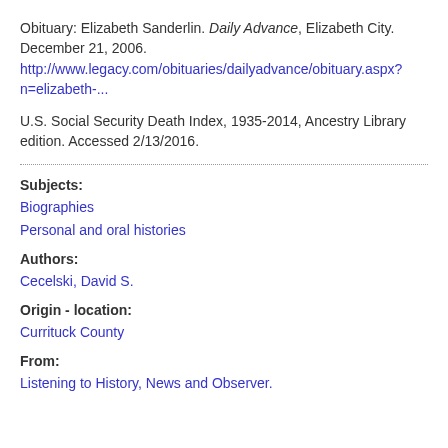Obituary: Elizabeth Sanderlin. Daily Advance, Elizabeth City. December 21, 2006. http://www.legacy.com/obituaries/dailyadvance/obituary.aspx?n=elizabeth-...
U.S. Social Security Death Index, 1935-2014, Ancestry Library edition. Accessed 2/13/2016.
Subjects:
Biographies
Personal and oral histories
Authors:
Cecelski, David S.
Origin - location:
Currituck County
From:
Listening to History, News and Observer.